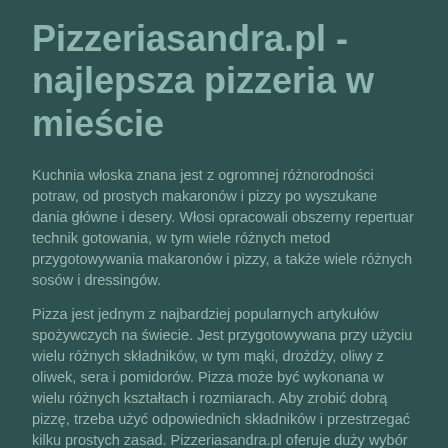Pizzeriasandra.pl - najlepsza pizzeria w mieście
Kuchnia włoska znana jest z ogromnej różnorodności potraw, od prostych makaronów i pizzy po wyszukane dania główne i desery. Włosi opracowali obszerny repertuar technik gotowania, w tym wiele różnych metod przygotowywania makaronów i pizzy, a także wiele różnych sosów i dressingów.
Pizza jest jednym z najbardziej popularnych artykułów spożywczych na świecie. Jest przygotowywana przy użyciu wielu różnych składników, w tym mąki, drożdży, oliwy z oliwek, sera i pomidorów. Pizza może być wykonana w wielu różnych kształtach i rozmiarach. Aby zrobić dobrą pizzę, trzeba użyć odpowiednich składników i przestrzegać kilku prostych zasad. Pizzeriasandra.pl oferuje duży wybór pysznych włoskich przysmaków, w tym pizzy, makaronów i przekąsek.